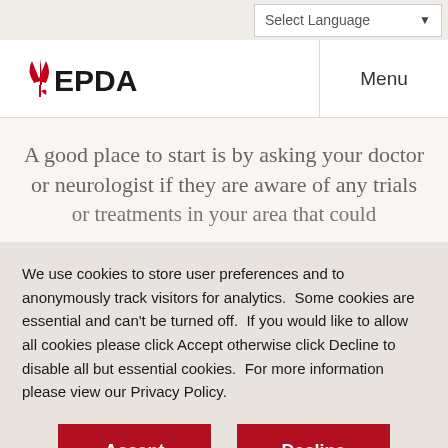Select Language ▼
[Figure (logo): EPDA logo with red tulip icon and bold black EPDA text]
Menu
A good place to start is by asking your doctor or neurologist if they are aware of any trials
We use cookies to store user preferences and to anonymously track visitors for analytics.  Some cookies are essential and can't be turned off.  If you would like to allow all cookies please click Accept otherwise click Decline to disable all but essential cookies.  For more information please view our Privacy Policy.
Accept
Decline